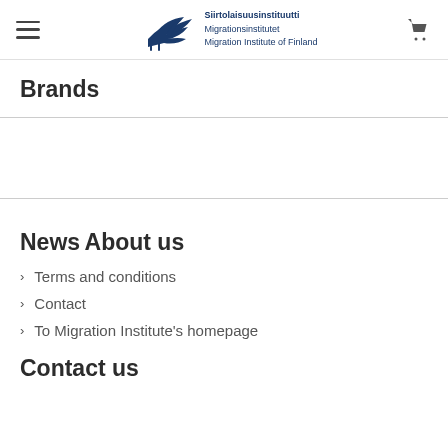Siirtolaisuusinstituutti Migrationsinstitutet Migration Institute of Finland
Brands
News
About us
> Terms and conditions
> Contact
> To Migration Institute's homepage
Contact us